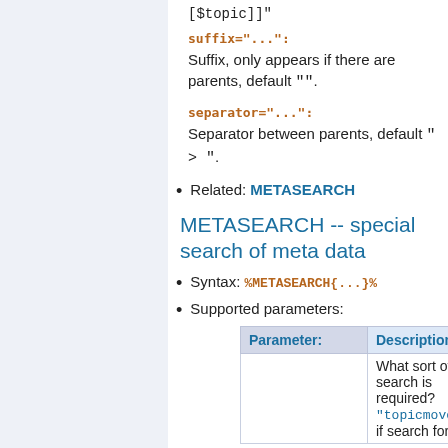[$topic]] suffix="...": Suffix, only appears if there are parents, default "".
separator="...": Separator between parents, default " > ".
Related: METASEARCH
METASEARCH -- special search of meta data
Syntax: %METASEARCH{...}%
Supported parameters:
| Parameter: | Description: |
| --- | --- |
|  | What sort of search is required? "topicmoved" if search for |